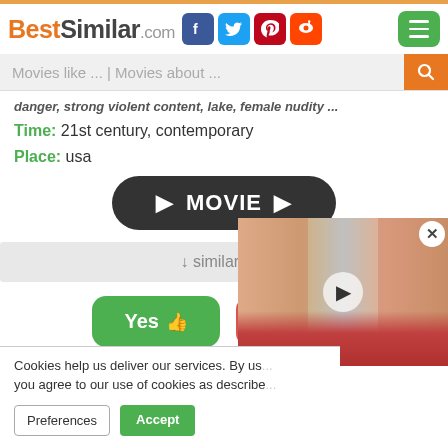BestSimilar.com
danger, strong violent content, lake, female nudity ...
Time: 21st century, contemporary
Place: usa
[Figure (other): Dark rounded rectangle button with play arrows and text MOVIE]
↓ similarity ↓
[Figure (other): Yes thumbs-up button (green) and No thumbs-down button (red)]
[Figure (screenshot): Video thumbnail overlay showing people dancing, with play button and close X]
Cookies help us deliver our services. By us... you agree to our use of cookies as describe...
Preferences
Accept